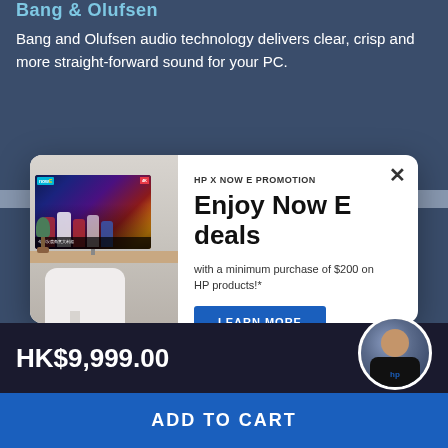Bang & Olufsen
Bang and Olufsen audio technology delivers clear, crisp and more straight-forward sound for your PC.
[Figure (screenshot): HP X Now E Promotion modal popup with image of TV screen showing sports streaming content, promotion title 'Enjoy Now E deals', subtext 'with a minimum purchase of $200 on HP products!*', a blue 'LEARN MORE' button, and '*T&Cs apply.' footnote. Modal has a close (X) button in top right corner.]
HK$9,999.00
ADD TO CART